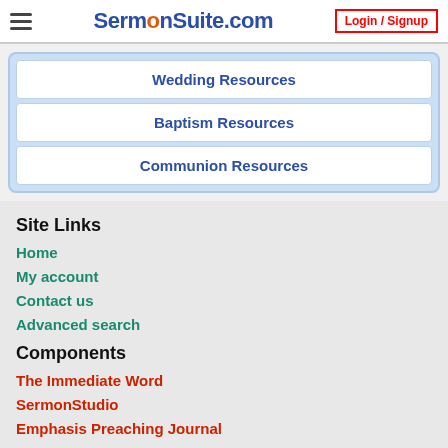SermonSuite.com  Login / Signup
Wedding Resources
Baptism Resources
Communion Resources
Site Links
Home
My account
Contact us
Advanced search
Components
The Immediate Word
SermonStudio
Emphasis Preaching Journal